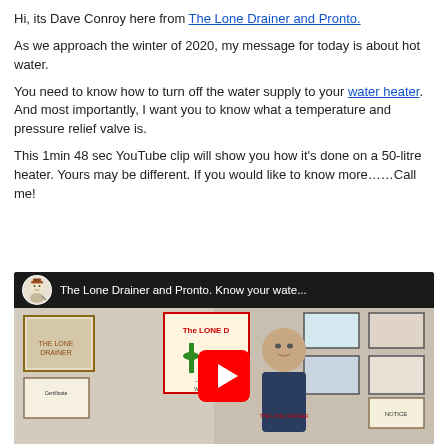Hi, its Dave Conroy here from The Lone Drainer and Pronto.
As we approach the winter of 2020, my message for today is about hot water.
You need to know how to turn off the water supply to your water heater. And most importantly, I want you to know what a temperature and pressure relief valve is.
This 1min 48 sec YouTube clip will show you how it's done on a 50-litre heater. Yours may be different. If you would like to know more……Call me!
[Figure (screenshot): YouTube video thumbnail showing a man standing in front of framed pictures on a wall, with a YouTube play button overlay. Video title: 'The Lone Drainer and Pronto. Know your wate...']